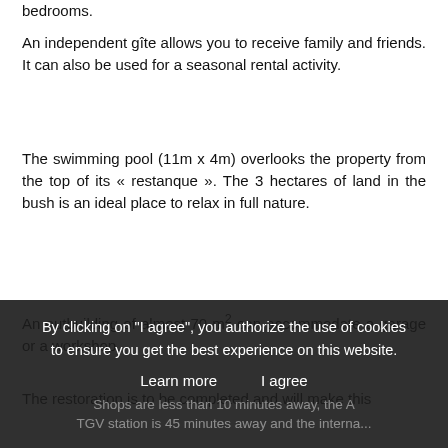bedrooms.
An independent gîte allows you to receive family and friends. It can also be used for a seasonal rental activity.
The swimming pool (11m x 4m) overlooks the property from the top of its « restanque ». The 3 hectares of land in the bush is an ideal place to relax in full nature.
An outbuilding of almost 70 m² can accommodate a garage or a workshop.
The restoration is to be completed and will make this property a magnificent property.
Shops are less than 10 minutes away, the A TGV station is 45 minutes away and the international...
By clicking on "I agree", you authorize the use of cookies to ensure you get the best experience on this website.